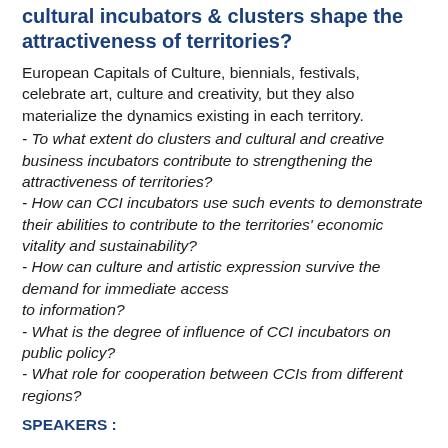cultural incubators & clusters shape the attractiveness of territories?
European Capitals of Culture, biennials, festivals, celebrate art, culture and creativity, but they also materialize the dynamics existing in each territory.
- To what extent do clusters and cultural and creative business incubators contribute to strengthening the attractiveness of territories?
- How can CCI incubators use such events to demonstrate their abilities to contribute to the territories' economic vitality and sustainability?
- How can culture and artistic expression survive the demand for immediate access to information?
- What is the degree of influence of CCI incubators on public policy?
- What role for cooperation between CCIs from different regions?
SPEAKERS :